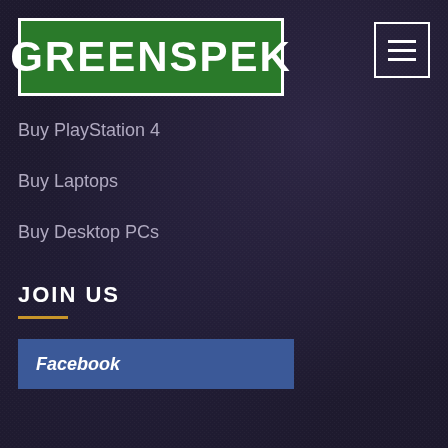[Figure (logo): GREENSPEK logo — white bold text on green background with white border]
Buy PlayStation 4
Buy Laptops
Buy Desktop PCs
JOIN US
[Figure (other): Facebook button — blue rectangle with italic bold white text 'Facebook']
SHARE US